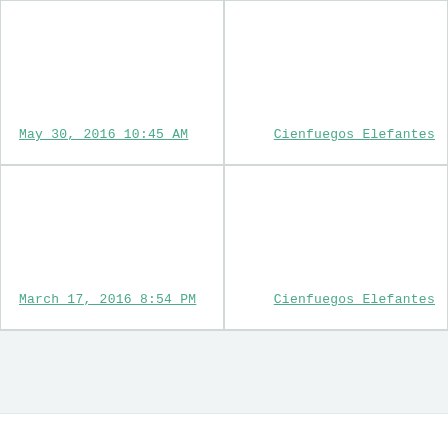| Date | Team |
| --- | --- |
| May 30, 2016 10:45 AM | Cienfuegos Elefantes |
| March 17, 2016 8:54 PM | Cienfuegos Elefantes |
TERMS OF SERVICE   PRIVACY POLICY   FANGRAPHS   CONTACT US   FAQ   RULES   STORE